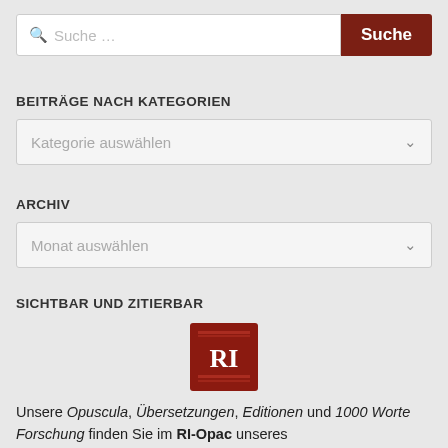[Figure (screenshot): Search bar with text input field showing placeholder 'Suche …' and a dark red 'Suche' button]
BEITRÄGE NACH KATEGORIEN
[Figure (screenshot): Dropdown selector showing 'Kategorie auswählen' with chevron arrow]
ARCHIV
[Figure (screenshot): Dropdown selector showing 'Monat auswählen' with chevron arrow]
SICHTBAR UND ZITIERBAR
[Figure (logo): RI logo — dark red square with white letters RI and horizontal lines below]
Unsere Opuscula, Übersetzungen, Editionen und 1000 Worte Forschung finden Sie im RI-Opac unseres